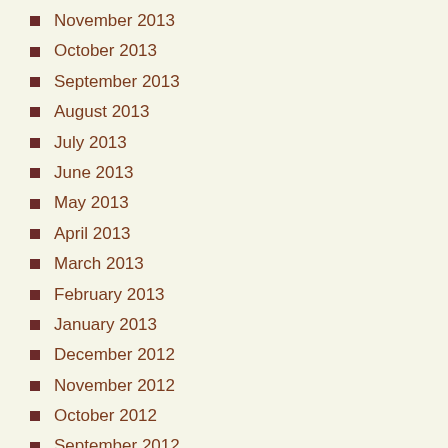November 2013
October 2013
September 2013
August 2013
July 2013
June 2013
May 2013
April 2013
March 2013
February 2013
January 2013
December 2012
November 2012
October 2012
September 2012
August 2012
July 2012
June 2012